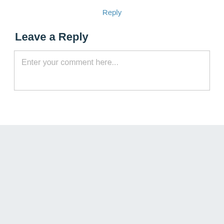Reply
Leave a Reply
Enter your comment here...
RECENT POSTS
Operation Gladio- P2 and the Bologna Bombing. April 10, 2022
The Russian Invasion of Ukraine. February 24, 2022
Fallen Australia. August 6, 2021
The Burning Blogger Returns. April 5, 2021